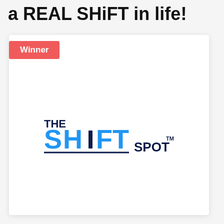a REAL SHiFT in life!
Winner
[Figure (logo): The Shift Spot logo — 'THE' in dark navy bold, 'SHiFT' in large blue bold letters with a dark navy vertical bar as the 'i', underline beneath SHiFT, 'SPOT' in dark navy bold with TM superscript]